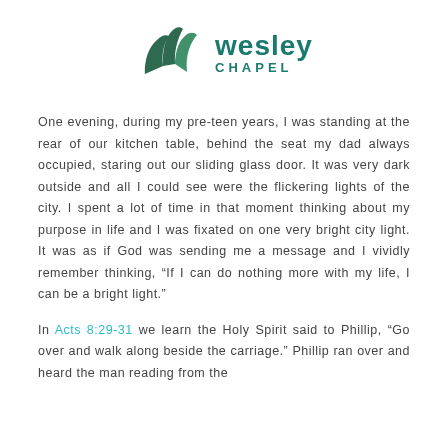[Figure (logo): Wesley Chapel logo with stylized green W icon and teal 'wesley CHAPEL' text]
One evening, during my pre-teen years, I was standing at the rear of our kitchen table, behind the seat my dad always occupied, staring out our sliding glass door.  It was very dark outside and all I could see were the flickering lights of the city.  I spent a lot of time in that moment thinking about my purpose in life and I was fixated on one very bright city light.  It was as if God was sending me a message and I vividly remember thinking, “If I can do nothing more with my life, I can be a bright light.”
In Acts 8:29-31 we learn the Holy Spirit said to Phillip, “Go over and walk along beside the carriage.” Phillip ran over and heard the man reading from the